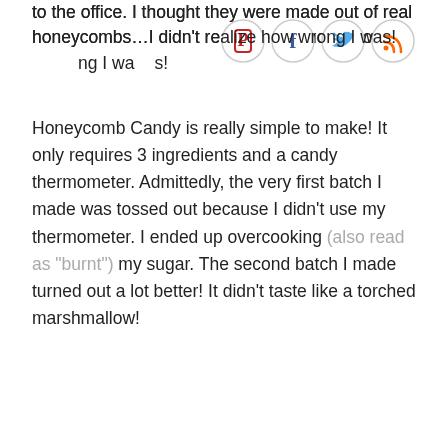to the office. I thought they were made out of real honeycombs…I didn't realize how wrong I was!
[Figure (other): Four circular social media share icons: Pinterest (red P), Facebook (blue f), Twitter (blue bird), RSS (orange waves)]
Honeycomb Candy is really simple to make! It only requires 3 ingredients and a candy thermometer. Admittedly, the very first batch I made was tossed out because I didn't use my thermometer. I ended up overcooking (also read as "burnt") my sugar. The second batch I made turned out a lot better! It didn't taste like a torched marshmallow!